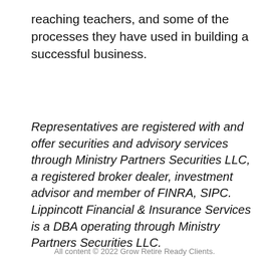reaching teachers, and some of the processes they have used in building a successful business.
Representatives are registered with and offer securities and advisory services through Ministry Partners Securities LLC, a registered broker dealer, investment advisor and member of FINRA, SIPC. Lippincott Financial & Insurance Services is a DBA operating through Ministry Partners Securities LLC.
All content © 2022 Grow Retire Ready Clients.